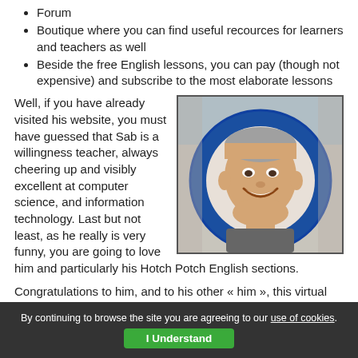Forum
Boutique where you can find useful recources for learners and teachers as well
Beside the free English lessons, you can pay (though not expensive) and subscribe to the most elaborate lessons
[Figure (photo): Man smiling with head peeking through a circular blue frame or window]
Well, if you have already visited his website, you must have guessed that Sab is a willingness teacher, always cheering up and visibly excellent at computer science, and information technology. Last but not least, as he really is very funny, you are going to love him and particularly his Hotch Potch English sections.
Congratulations to him, and to his other « him », this virtual actor animated within the video frames who contributes to spread the English language in a never-boring way!
By continuing to browse the site you are agreeing to our use of cookies. I Understand